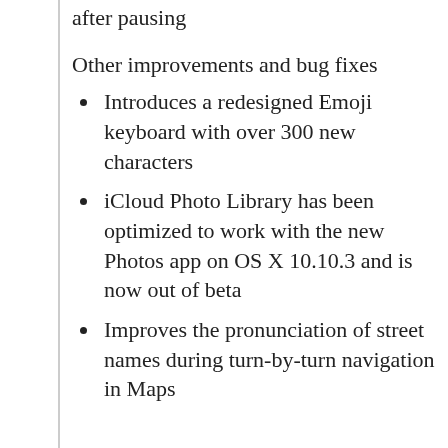after pausing
Other improvements and bug fixes
Introduces a redesigned Emoji keyboard with over 300 new characters
iCloud Photo Library has been optimized to work with the new Photos app on OS X 10.10.3 and is now out of beta
Improves the pronunciation of street names during turn-by-turn navigation in Maps